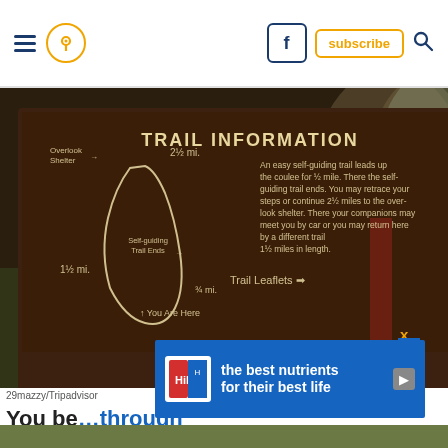Navigation bar with hamburger menu, location pin icon, Facebook button, subscribe button, search icon
[Figure (photo): A wooden trail information sign at a nature trail showing a map and text reading TRAIL INFORMATION. The sign describes an easy self-guiding trail leading up the coulee for 1/2 mile. Trail distances shown: 2½ mi., 1½ mi., ¾ mi. Text mentions trail leaflets and 'You Are Here' marker. Background shows rocky cliffs and green vegetation.]
29mazzy/Tripadvisor
You be... through the tre... s of the badlands for about 3/4 of a mile.